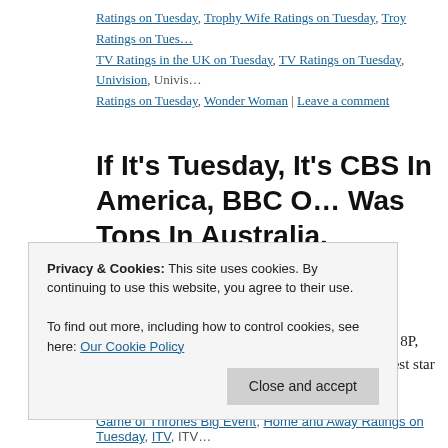Ratings on Tuesday, Trophy Wife Ratings on Tuesday, Troy Ratings on Tuesday, TV Ratings in the UK on Tuesday, TV Ratings on Tuesday, Univision, Univision Ratings on Tuesday, Wonder Woman | Leave a comment
If It's Tuesday, It's CBS In America, BBC One Was Tops In Australia.
Posted on March 5, 2014 by overtheshouldermlb
Tuesday, 03.04.14 If it's Tuesday, it is CBSday. At 8P, 'NCIS' d… 11.1/17, as Robert Wagner was the guest star in a major whodun… with the news that he is … Continue reading →
Posted in Audience Analysis, Audience Management, Broadcast TV Ratings in UK, Broadcast TV Ratings in US, Cable TV Ratings, Daily Broadcast Ratings…
Privacy & Cookies: This site uses cookies. By continuing to use this website, you agree to their use.
To find out more, including how to control cookies, see here: Our Cookie Policy
Close and accept
Game of Thrones Big Event, Home and Away Ratings on Tuesday, ITV, ITV…